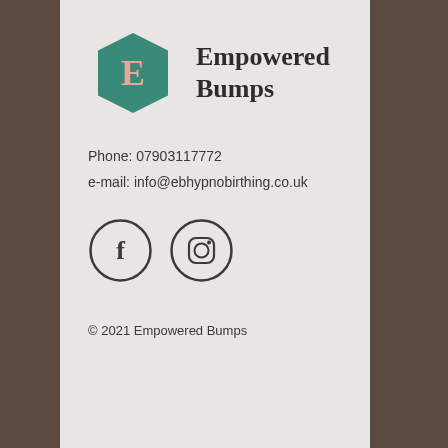[Figure (logo): Empowered Bumps logo: teal hexagon with letter E inside, next to brand name 'Empowered Bumps']
Phone: 07903117772
e-mail: info@ebhypnobirthing.co.uk
[Figure (infographic): Two circular social media icons: Facebook (f) and Instagram (camera) outlined in dark grey]
© 2021 Empowered Bumps